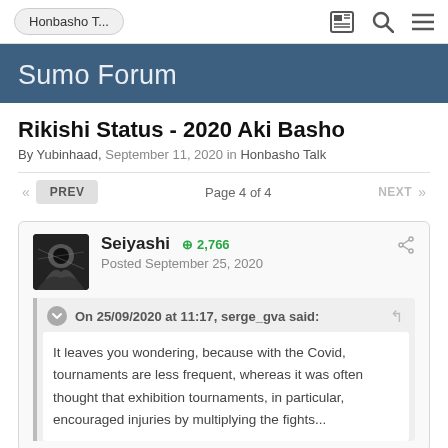Honbasho T...
Sumo Forum
Rikishi Status - 2020 Aki Basho
By Yubinhaad, September 11, 2020 in Honbasho Talk
« PREV  Page 4 of 4  NEXT »
Seiyashi  ⊕ 2,766
Posted September 25, 2020
On 25/09/2020 at 11:17, serge_gva said:
It leaves you wondering, because with the Covid, tournaments are less frequent, whereas it was often thought that exhibition tournaments, in particular, encouraged injuries by multiplying the fights...